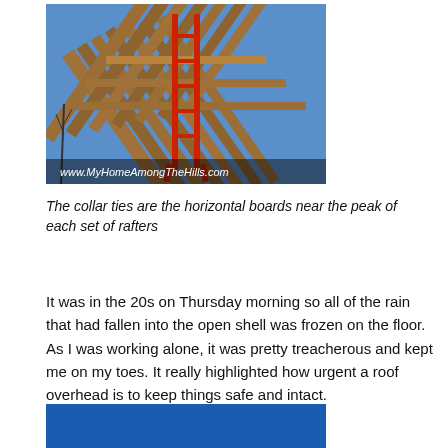[Figure (photo): Photo of a house under construction showing roof rafters and collar ties with a red ladder leaning against the peak, viewed from below against a blue sky. Watermark reads www.MyHomeAmongTheHills.com]
The collar ties are the horizontal boards near the peak of each set of rafters
It was in the 20s on Thursday morning so all of the rain that had fallen into the open shell was frozen on the floor.  As I was working alone, it was pretty treacherous and kept me on my toes.  It really highlighted how urgent a roof overhead is to keep things safe and intact.
[Figure (photo): Partial photo (cropped at bottom of page), showing a blue area at top (likely sky or tarp), partially visible.]